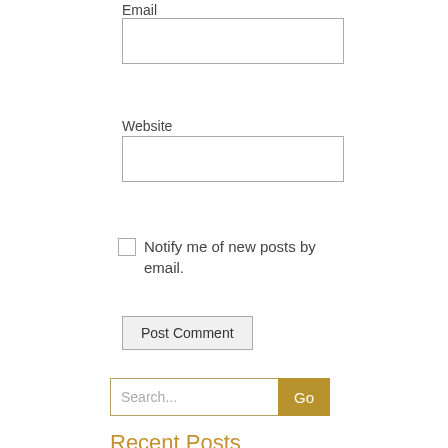Email
[Figure (other): Empty email input text box]
Website
[Figure (other): Empty website input text box]
Notify me of new posts by email.
[Figure (other): Post Comment button]
[Figure (other): Search input box with Go button]
Recent Posts